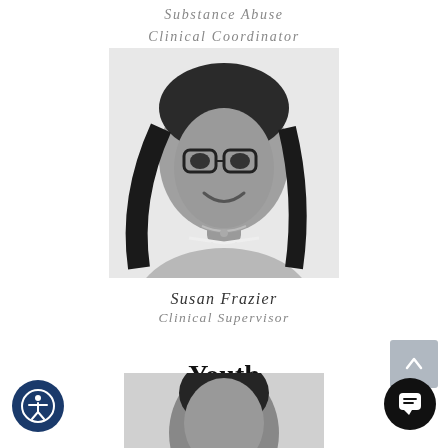Substance Abuse
Clinical Coordinator
[Figure (photo): Black and white headshot of a woman with long straight dark hair and glasses, wearing a white top and necklace, smiling.]
Susan Frazier
Clinical Supervisor
Youth
Intervention
[Figure (photo): Black and white partial headshot of a person, cropped at bottom of page.]